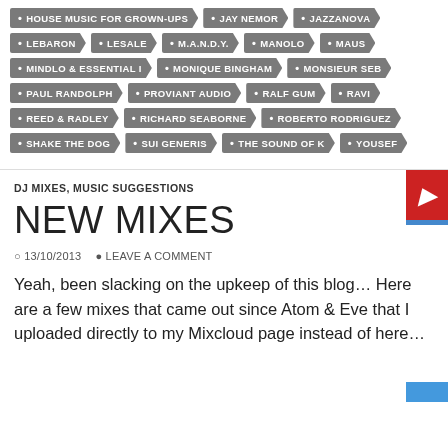HOUSE MUSIC FOR GROWN-UPS
JAY NEMOR
JAZZANOVA
LEBARON
LESALE
M.A.N.D.Y.
MANOLO
MAUS
MINDLO & ESSENTIAL I
MONIQUE BINGHAM
MONSIEUR SEB
PAUL RANDOLPH
PROVIANT AUDIO
RALF GUM
RAVI
REED & RADLEY
RICHARD SEABORNE
ROBERTO RODRIGUEZ
SHAKE THE DOG
SUI GENERIS
THE SOUND OF K
YOUSEF
DJ MIXES, MUSIC SUGGESTIONS
NEW MIXES
13/10/2013   LEAVE A COMMENT
Yeah, been slacking on the upkeep of this blog... Here are a few mixes that came out since Atom & Eve that I uploaded directly to my Mixcloud page instead of here...